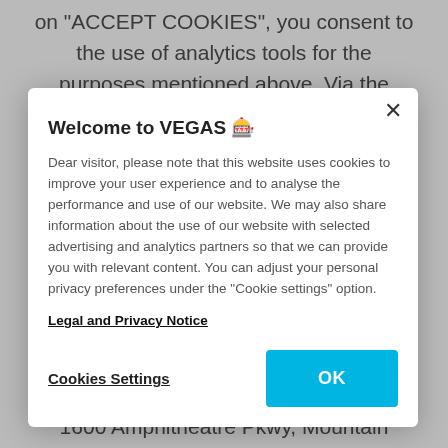on "ACCEPT COOKIES", you consent to the use of analytics tools for the purposes mentioned above. Via the button "COOKIE SETTINGS" at the
Welcome to VEGAS 🎰
Dear visitor, please note that this website uses cookies to improve your user experience and to analyse the performance and use of our website. We may also share information about the use of our website with selected advertising and analytics partners so that we can provide you with relevant content. You can adjust your personal privacy preferences under the "Cookie settings" option.
Legal and Privacy Notice
Cookies Settings
OK
Analytics components is Google Inc., 1600 Amphitheatre Pkwy, Mountain